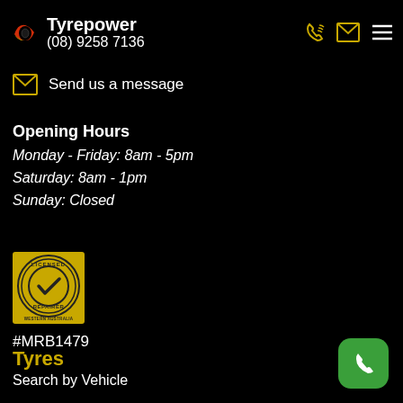Tyrepower (08) 9258 7136
Send us a message
Opening Hours
Monday - Friday: 8am - 5pm
Saturday: 8am - 1pm
Sunday: Closed
[Figure (logo): Licensed Repairer Western Australia badge — yellow square with circular seal containing a checkmark]
#MRB1479
Tyres
Search by Vehicle